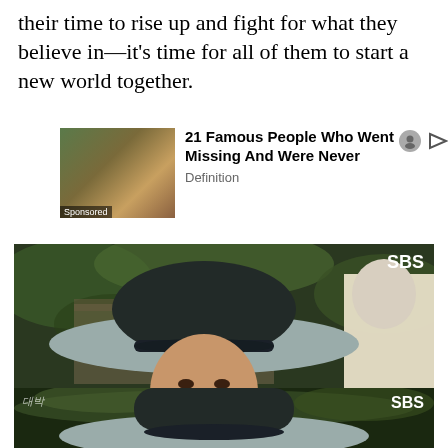their time to rise up and fight for what they believe in—it's time for all of them to start a new world together.
[Figure (other): Sponsored advertisement banner: image of a smiling person with text '21 Famous People Who Went Missing And Were Never' and label 'Definition'. Includes small icons.]
[Figure (photo): Screenshot from SBS Korean drama showing a young man wearing a traditional Korean gat (hat) in black and grey, dressed in a blue historical costume, facing another person whose back is to the camera. SBS logo in top right. Korean language ticker at the bottom.]
[Figure (photo): Partial screenshot from SBS Korean drama showing the top of a traditional Korean gat (hat) against a green background. SBS logo visible in top right. A script/logo watermark at top left.]